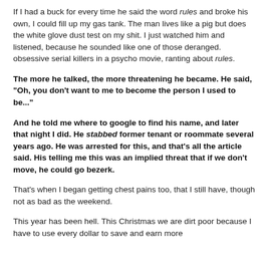If I had a buck for every time he said the word rules and broke his own, I could fill up my gas tank. The man lives like a pig but does the white glove dust test on my shit. I just watched him and listened, because he sounded like one of those deranged. obsessive serial killers in a psycho movie, ranting about rules.
The more he talked, the more threatening he became. He said, "Oh, you don't want to me to become the person I used to be..."
And he told me where to google to find his name, and later that night I did. He stabbed former tenant or roommate several years ago. He was arrested for this, and that's all the article said. His telling me this was an implied threat that if we don't move, he could go bezerk.
That's when I began getting chest pains too, that I still have, though not as bad as the weekend.
This year has been hell. This Christmas we are dirt poor because I have to use every dollar to save and earn more